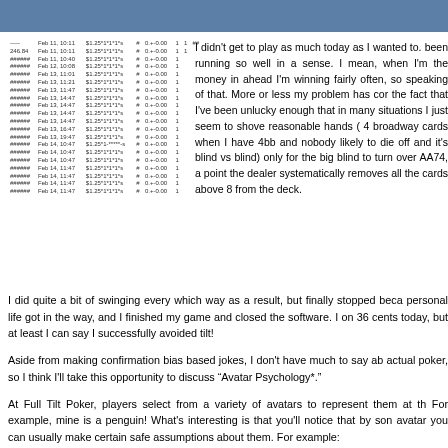| ----- | Feb 11, 10:11 | $1.25*1*1*1*s | # | 0.+-0.00 | 1 | 1 | ## |
| 246.84 | Feb 11, 10:11 | $1.25*1*1*1*s | # | 0.+-0.00 | 1 | 1 |  |
| ###### | Feb 11, 10:40 | $1.25*1*1*1*s | # | 0.+-0.00 | 1 |  |  |
| ###### | Feb 12, 10:08 | $1.25*1*1*1*s | # | 0.+-0.00 | 1 |  |  |
| ###### | Feb 13, 11:01 | $1.25*1*1*1*s | # | 0.+-0.00 | 1 |  |  |
| ###### | Feb 13, 11:21 | $1.25*1*1*1*s | # | 0.+-0.00 | 1 |  |  |
| ###### | Feb 13, 11:47 | $1.25*1*1*1*s | # | 0.+-0.00 | 1 |  |  |
| ###### | Feb 13, 14:47 | $1.25*1*1*1*s | # | 0.+-0.00 | 1 |  |  |
| ###### | Feb 13, 14:47 | $1.25*1*1*1*s | # | 0.+-0.00 | 1 |  |  |
| ###### | Feb 13, 14:47 | $1.25*1*1*1*s | # | 0.+-0.00 | 1 |  |  |
| ###### | Feb 13, 14:47 | $1.25*1*1*1*s | # | 0.+-0.00 | 1 |  |  |
| ###### | Feb 13, 16:47 | $1.25*1*1*1*s | # | 0.+-0.00 | 1 |  |  |
| ###### | Feb 13, 19:47 | $1.25*1*1*1*s | # | 0.+-0.00 | 1 |  |  |
| ###### | Feb 14, 10:47 | $1.25*1-*****-s | # | 0.+-0.00 | 1 |  |  |
| ###### | Feb 14, 10:47 | $1.25*1*1*1*s | # | 0.+-0.00 | 1 |  |  |
| ###### | Feb 14, 10:47 | $1.25*1*1*1*s | # | 0.+-0.00 | 1 |  |  |
| ###### | Feb 14, 11:47 | $1.25*1*1*1*s | # | 0.+-0.00 | 1 |  |  |
| ###### | Feb 14, 11:47 | $1.25*1*1*1*s | # | 0.+-0.00 | 1 |  |  |
| ###### | Feb 14, 11:47 | $1.25*1*1*1*s | # | 0.+-0.00 | 1 |  |  |
| ###### | Feb 14, 11:47 | $1.25*1*1*1*s | # | 0.+-0.00 | 1 |  |  |
I didn't get to play as much today as I wanted to. been running so well in a sense. I mean, when I'm the money in ahead I'm winning fairly often, so speaking of that. More or less my problem has come the fact that I've been unlucky enough that in many situations I just seem to shove reasonable hands (4 broadway cards when I have 4bb and nobody likely to die off and it's blind vs blind) only for the big blind to turn over AA74, a point the dealer systematically removes all the cards above 8 from the deck.
I did quite a bit of swinging every which way as a result, but finally stopped because personal life got in the way, and I finished my game and closed the software. I only made 36 cents today, but at least I can say I successfully avoided tilt!
Aside from making confirmation bias based jokes, I don't have much to say about actual poker, so I think I'll take this opportunity to discuss "Avatar Psychology*".
At Full Tilt Poker, players select from a variety of avatars to represent them at the table. For example, mine is a penguin! What's interesting is that you'll notice that by someone's avatar you can usually make certain safe assumptions about them. For example: